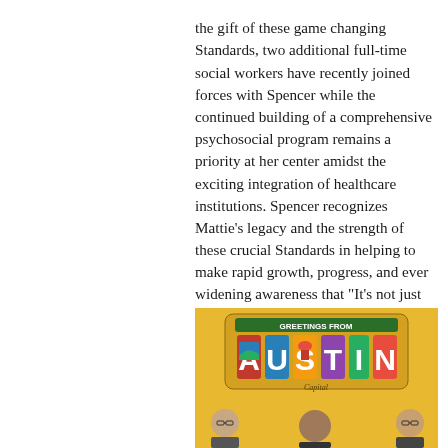the gift of these game changing Standards, two additional full-time social workers have recently joined forces with Spencer while the continued building of a comprehensive psychosocial program remains a priority at her center amidst the exciting integration of healthcare institutions. Spencer recognizes Mattie's legacy and the strength of these crucial Standards in helping to make rapid growth, progress, and ever widening awareness that "It's not just about the medicine" possible.
[Figure (photo): A photograph with a yellow background showing people below an 'Austin' vintage-style greeting sign. Two people are visible at the bottom of the image.]